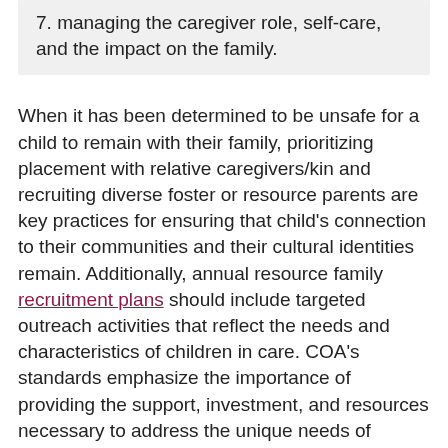7. managing the caregiver role, self-care, and the impact on the family.
When it has been determined to be unsafe for a child to remain with their family, prioritizing placement with relative caregivers/kin and recruiting diverse foster or resource parents are key practices for ensuring that child's connection to their communities and their cultural identities remain. Additionally, annual resource family recruitment plans should include targeted outreach activities that reflect the needs and characteristics of children in care. COA's standards emphasize the importance of providing the support, investment, and resources necessary to address the unique needs of kinship caregivers in service to the children, families, and communities that they and the organizations with whom they partner serve.